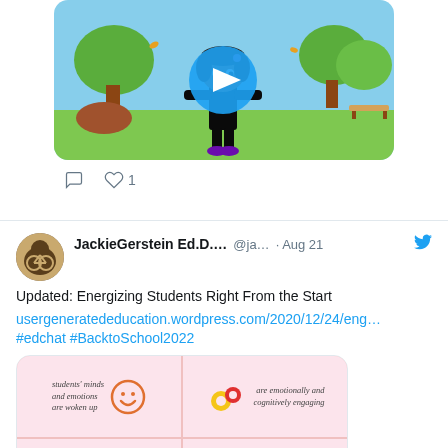[Figure (screenshot): Animated video thumbnail showing a cartoon girl in a park with trees, with a blue play button overlay]
♡ 1
[Figure (screenshot): Twitter/social media post by JackieGerstein Ed.D. @ja... · Aug 21 about 'Updated: Energizing Students Right From the Start' with link usergeneratededucation.wordpress.com/2020/12/24/eng... #edchat #BacktoSchool2022]
[Figure (infographic): Infographic with 4 panels on pink background: students' minds and emotions are woken up (smiley face icon), are emotionally and cognitively engaging (gears icon), focus is on the process of... (partial), and another panel]